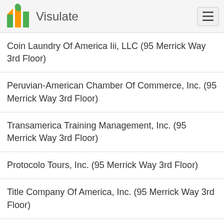Visulate
Coin Laundry Of America Iii, LLC (95 Merrick Way 3rd Floor)
Peruvian-American Chamber Of Commerce, Inc. (95 Merrick Way 3rd Floor)
Transamerica Training Management, Inc. (95 Merrick Way 3rd Floor)
Protocolo Tours, Inc. (95 Merrick Way 3rd Floor)
Title Company Of America, Inc. (95 Merrick Way 3rd Floor)
Law Offices Of Anibal J. Duarte-Viera, P.A. (95 Merrick Way 3rd Floor)
Break The Format Foundation Corp. (95 Merrick Way Third Floor)
Caribbean Journal LLC (95 Merrick Way)
Brickell Opportunity Partners, LLC (95 Merrick Way)